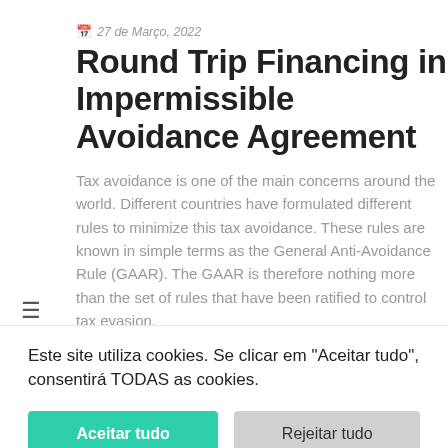27 de Março, 2022
Round Trip Financing in Impermissible Avoidance Agreement
Tax avoidance is one of the main concerns around the world. Different countries have formulated different rules to minimize this tax avoidance. These rules are known in simple terms as the General Anti-Avoidance Rule (GAAR). The GAAR is therefore nothing more than the set of rules that have been ratified to control tax evasion.
Este site utiliza cookies. Se clicar em "Aceitar tudo", consentirá TODAS as cookies.